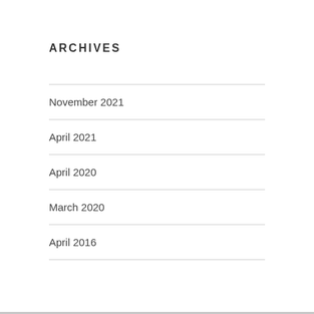ARCHIVES
November 2021
April 2021
April 2020
March 2020
April 2016